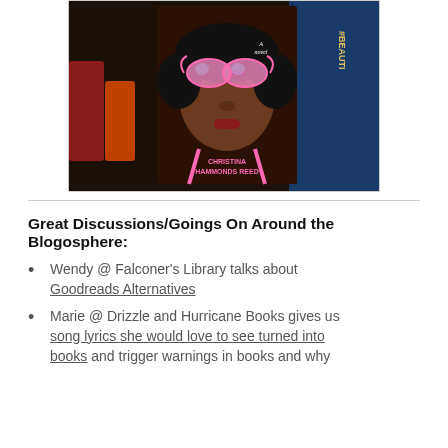[Figure (photo): Photo of a book with illustrated cover — a young Black woman wearing large pink reflective sunglasses, with pink neon accents, and text reading 'Christina Hammonds Reed'. The book is propped on a dark shelf with other books visible behind it.]
Great Discussions/Goings On Around the Blogosphere:
Wendy @ Falconer's Library talks about Goodreads Alternatives
Marie @ Drizzle and Hurricane Books gives us song lyrics she would love to see turned into books and trigger warnings in books and why